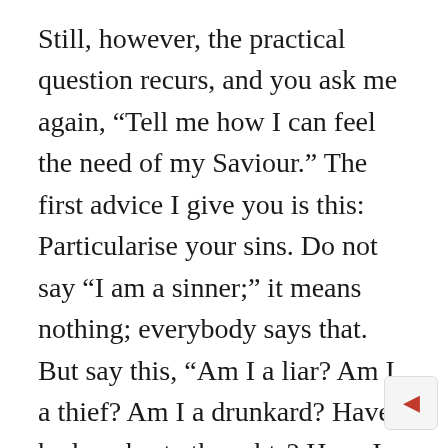Still, however, the practical question recurs, and you ask me again, “Tell me how I can feel the need of my Saviour.” The first advice I give you is this: Particularise your sins. Do not say “I am a sinner;” it means nothing; everybody says that. But say this, “Am I a liar? Am I a thief? Am I a drunkard? Have I had unchaste thoughts? Have I committed unclean acts? Have I in my soul often rebelled against God? Am I often angry without a cause? Have I a bad tempter? Am I covetous? Do I love this world better than the world to come? Do I